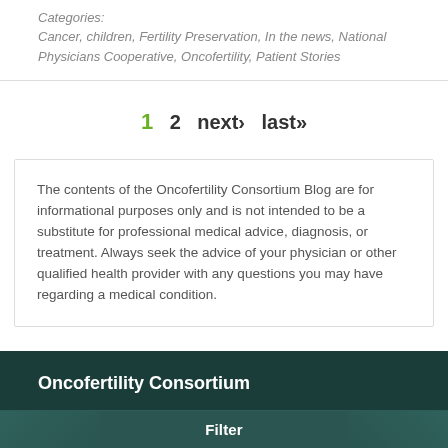Categories: Cancer, children, Fertility Preservation, In the news, National Physicians Cooperative, Oncofertility, Patient Stories
1  2  next›  last»
The contents of the Oncofertility Consortium Blog are for informational purposes only and is not intended to be a substitute for professional medical advice, diagnosis, or treatment. Always seek the advice of your physician or other qualified health provider with any questions you may have regarding a medical condition.
Oncofertility Consortium
Filter